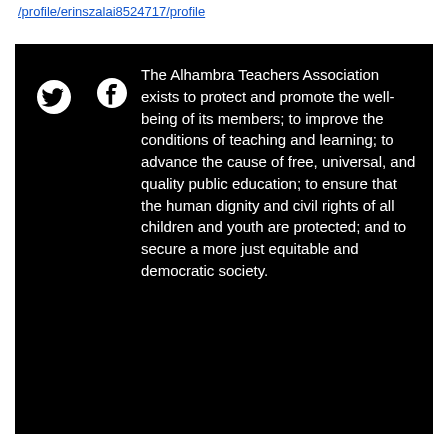/profile/erinszalai8524717/profile
[Figure (other): Black box containing Twitter and Facebook social media icons alongside the Alhambra Teachers Association mission statement in white text on black background.]
The Alhambra Teachers Association exists to protect and promote the well-being of its members; to improve the conditions of teaching and learning; to advance the cause of free, universal, and quality public education; to ensure that the human dignity and civil rights of all children and youth are protected; and to secure a more just equitable and democratic society.